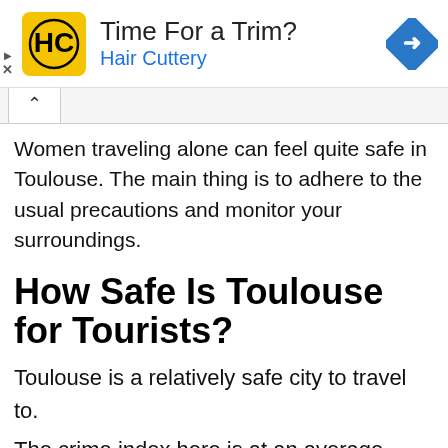[Figure (infographic): Advertisement banner for Hair Cuttery with yellow logo, 'Time For a Trim?' headline in dark text, 'Hair Cuttery' in blue, and a blue diamond-shaped navigation arrow icon on the right.]
Women traveling alone can feel quite safe in Toulouse. The main thing is to adhere to the usual precautions and monitor your surroundings.
How Safe Is Toulouse for Tourists?
Toulouse is a relatively safe city to travel to.
The crime index here is at an average level.
The main problems are related to vandalism